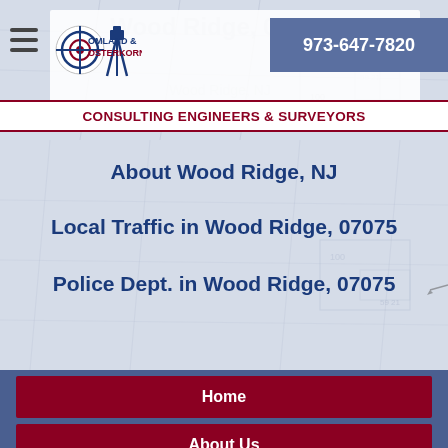[Figure (logo): Omland & Osterkorn logo with circular crosshair/target icon and survey tripod silhouette]
973-647-7820
CONSULTING ENGINEERS & SURVEYORS
About Wood Ridge, NJ
Local Traffic in Wood Ridge, 07075
Police Dept. in Wood Ridge, 07075
Home
About Us
Engineering Services
Surveying Services
Reviews
Call